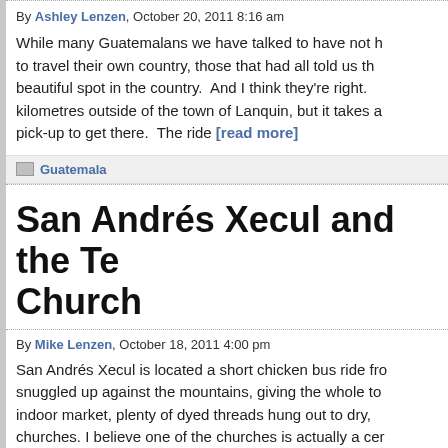By Ashley Lenzen, October 20, 2011 8:16 am
While many Guatemalans we have talked to have not had the chance to travel their own country, those that had all told us this was the most beautiful spot in the country.  And I think they're right.  It is only 8 kilometres outside of the town of Lanquin, but it takes a local pick-up to get there.  The ride [read more]
Guatemala
San Andrés Xecul and the Technicolor Church
By Mike Lenzen, October 18, 2011 4:00 pm
San Andrés Xecul is located a short chicken bus ride from Xela, snuggled up against the mountains, giving the whole town a great indoor market, plenty of dyed threads hung out to dry, churches. I believe one of the churches is actually a cer